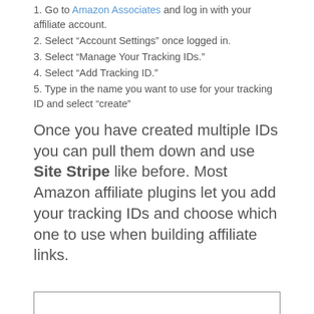1. Go to Amazon Associates and log in with your affiliate account.
2. Select “Account Settings” once logged in.
3. Select “Manage Your Tracking IDs.”
4. Select “Add Tracking ID.”
5. Type in the name you want to use for your tracking ID and select “create”
Once you have created multiple IDs you can pull them down and use Site Stripe like before. Most Amazon affiliate plugins let you add your tracking IDs and choose which one to use when building affiliate links.